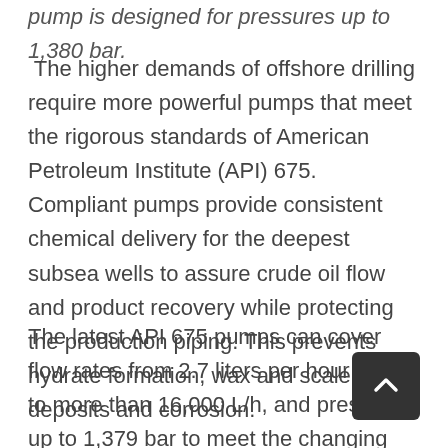pump is designed for pressures up to 1,380 bar.
The higher demands of offshore drilling require more powerful pumps that meet the rigorous standards of American Petroleum Institute (API) 675. Compliant pumps provide consistent chemical delivery for the deepest subsea wells to assure crude oil flow and product recovery while protecting the production piping. This prevents hydrate formation, wax and scale deposits and corrosion.
The latest API 675 pumps can cover flow rates from 2.7 liters per hour (L/h) to more than 16,000 L/h, and pressures up to 1,379 bar to meet the changing flows and pressures during offshore